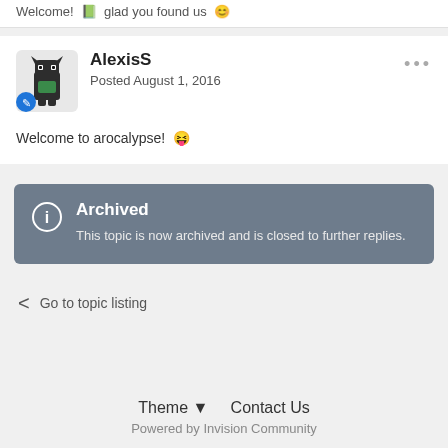Welcome! glad you found us
AlexisS
Posted August 1, 2016
Welcome to arocalypse!
Archived
This topic is now archived and is closed to further replies.
Go to topic listing
Theme  Contact Us
Powered by Invision Community